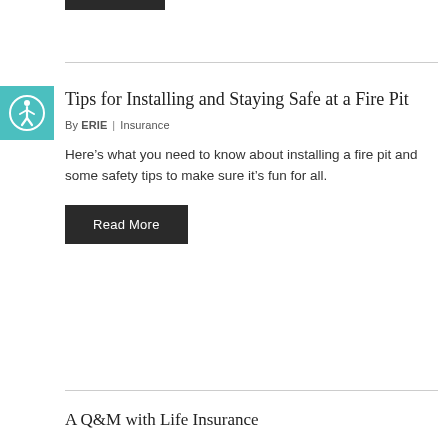[Figure (illustration): Accessibility icon - person figure in circle on teal/turquoise square background]
Tips for Installing and Staying Safe at a Fire Pit
By ERIE | Insurance
Here’s what you need to know about installing a fire pit and some safety tips to make sure it’s fun for all.
Read More
A Q&M with Life Insurance